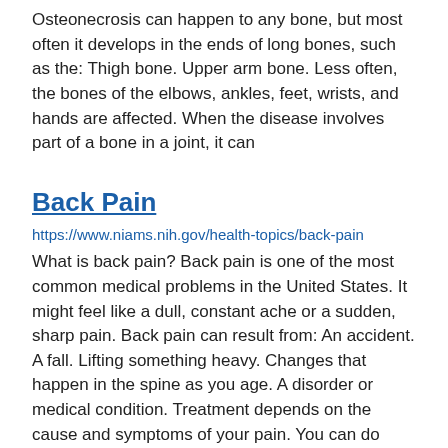Osteonecrosis can happen to any bone, but most often it develops in the ends of long bones, such as the: Thigh bone. Upper arm bone. Less often, the bones of the elbows, ankles, feet, wrists, and hands are affected. When the disease involves part of a bone in a joint, it can
Back Pain
https://www.niams.nih.gov/health-topics/back-pain
What is back pain? Back pain is one of the most common medical problems in the United States. It might feel like a dull, constant ache or a sudden, sharp pain. Back pain can result from: An accident. A fall. Lifting something heavy. Changes that happen in the spine as you age. A disorder or medical condition. Treatment depends on the cause and symptoms of your pain. You can do things to improve your health and lower your chance of developing chronic (long-lasting) back pain.
Fibrous Dysplasia
https://www.niams.nih.gov/health-topics/fibrous-dysplasia
What is fibrous dysplasia? Fibrous dysplasia happens when abnormal fibrous (scar-like) tissue replaces healthy bone. The fibrous tissue weakens the bone over time, which can lead to: Broken bones. Bones that are misshapen (bowed or crooked). The